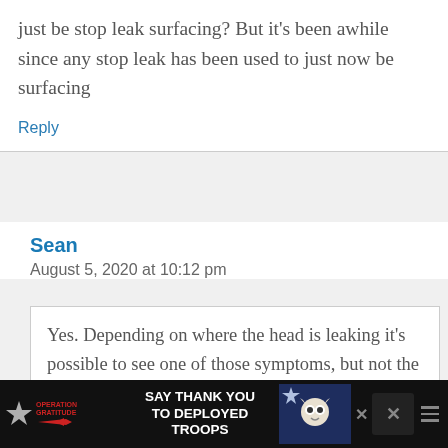just be stop leak surfacing? But it’s been awhile since any stop leak has been used to just now be surfacing
Reply
Sean
August 5, 2020 at 10:12 pm
Yes. Depending on where the head is leaking it’s possible to see one of those symptoms, but not the other.
[Figure (infographic): Advertisement banner for Operation Gratitude: SAY THANK YOU TO DEPLOYED TROOPS, with logo, star graphics, and owl-like mascot illustration. Close buttons visible on right side.]